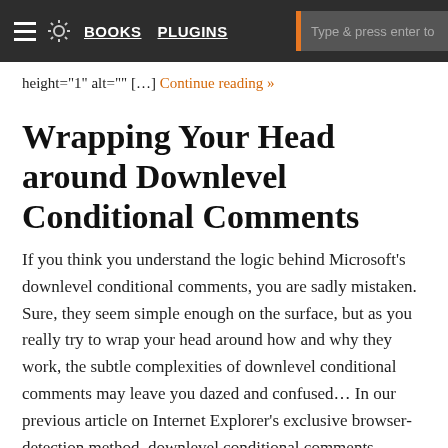≡ ☀ BOOKS PLUGINS Type & press enter to
height="1" alt="" […] Continue reading »
Wrapping Your Head around Downlevel Conditional Comments
If you think you understand the logic behind Microsoft's downlevel conditional comments, you are sadly mistaken. Sure, they seem simple enough on the surface, but as you really try to wrap your head around how and why they work, the subtle complexities of downlevel conditional comments may leave you dazed and confused… In our previous article on Internet Explorer's exclusive browser-detection method, downlevel conditional comments (DCC), we present an introductory